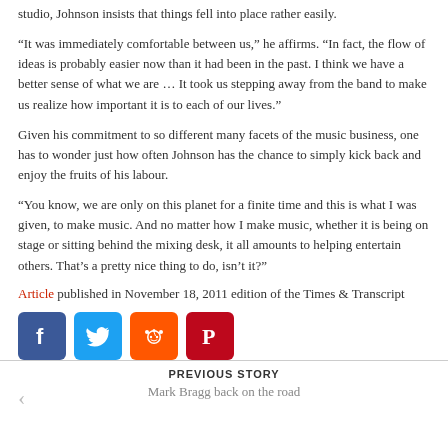studio, Johnson insists that things fell into place rather easily.
“It was immediately comfortable between us,” he affirms. “In fact, the flow of ideas is probably easier now than it had been in the past. I think we have a better sense of what we are … It took us stepping away from the band to make us realize how important it is to each of our lives.”
Given his commitment to so different many facets of the music business, one has to wonder just how often Johnson has the chance to simply kick back and enjoy the fruits of his labour.
“You know, we are only on this planet for a finite time and this is what I was given, to make music. And no matter how I make music, whether it is being on stage or sitting behind the mixing desk, it all amounts to helping entertain others. That’s a pretty nice thing to do, isn’t it?”
Article published in November 18, 2011 edition of the Times & Transcript
[Figure (other): Social media share buttons: Facebook, Twitter, Reddit, Pinterest]
PREVIOUS STORY
Mark Bragg back on the road